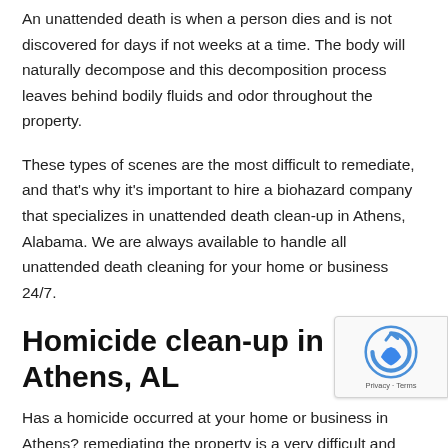An unattended death is when a person dies and is not discovered for days if not weeks at a time. The body will naturally decompose and this decomposition process leaves behind bodily fluids and odor throughout the property.
These types of scenes are the most difficult to remediate, and that's why it's important to hire a biohazard company that specializes in unattended death clean-up in Athens, Alabama. We are always available to handle all unattended death cleaning for your home or business 24/7.
Homicide clean-up in Athens, AL
Has a homicide occurred at your home or business in Athens? remediating the property is a very difficult and emotional task that is the responsibility of the homeowner or business owner. Not only is cleaning up after a homicide stressful, but it can also be hazardous to your health. Cleaning up the scene of a homicide and removing blood
[Figure (other): reCAPTCHA badge overlay in bottom-right corner showing Privacy and Terms links]